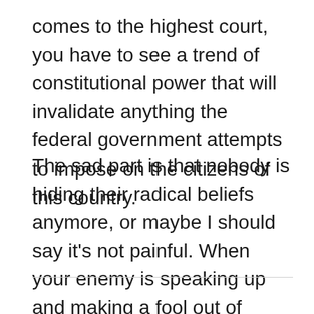comes to the highest court, you have to see a trend of constitutional power that will invalidate anything the federal government attempts to impose on the citizens of this country.
The sad part is that nobody is hiding their radical beliefs anymore, or maybe I should say it's not painful. When your enemy is speaking up and making a fool out of himself, do and say nothing, let his words out him in the ground faster than a bullet will.